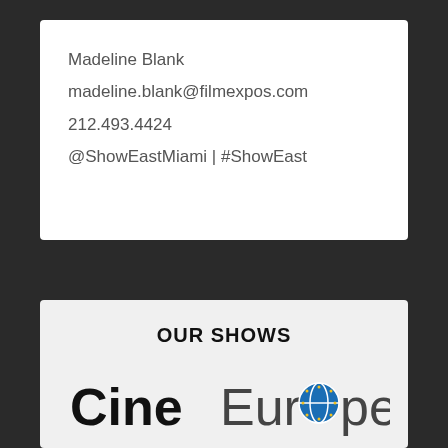Madeline Blank
madeline.blank@filmexpos.com
212.493.4424
@ShowEastMiami | #ShowEast
OUR SHOWS
[Figure (logo): CineEurope logo with globe icon replacing the 'o' in Europe]